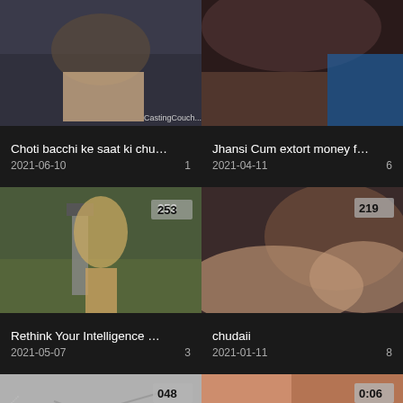[Figure (photo): Video thumbnail top-left, partially cropped image]
[Figure (photo): Video thumbnail top-right, partially cropped image]
Choti bacchi ke saat ki chu…
2021-06-10    1
Jhansi Cum extort money f…
2021-04-11    6
[Figure (photo): Woman at water pump, duration badge 253]
[Figure (photo): Blurry video thumbnail, duration badge 219]
Rethink Your Intelligence …
2021-05-07    3
chudaii
2021-01-11    8
[Figure (photo): Video thumbnail bottom-left, duration badge 048]
[Figure (photo): Video thumbnail bottom-right, duration badge 006]